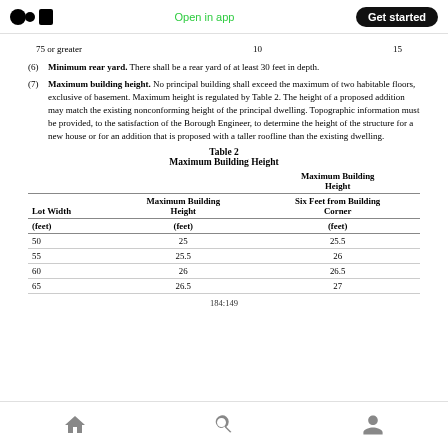Open in app | Get started
| 75 or greater | 10 | 15 |
| --- | --- | --- |
(6) Minimum rear yard. There shall be a rear yard of at least 30 feet in depth.
(7) Maximum building height. No principal building shall exceed the maximum of two habitable floors, exclusive of basement. Maximum height is regulated by Table 2. The height of a proposed addition may match the existing nonconforming height of the principal dwelling. Topographic information must be provided, to the satisfaction of the Borough Engineer, to determine the height of the structure for a new house or for an addition that is proposed with a taller roofline than the existing dwelling.
Table 2
Maximum Building Height
| Lot Width (feet) | Maximum Building Height (feet) | Six Feet from Building Corner (feet) |
| --- | --- | --- |
| 50 | 25 | 25.5 |
| 55 | 25.5 | 26 |
| 60 | 26 | 26.5 |
| 65 | 26.5 | 27 |
184:149